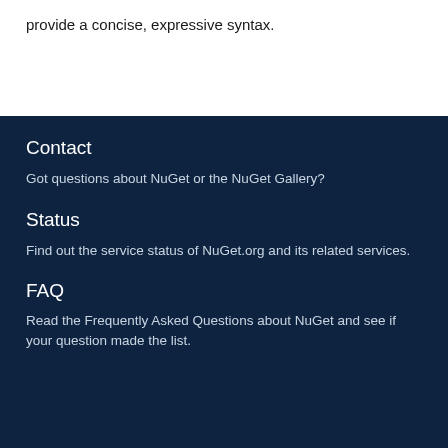provide a concise, expressive syntax.
Contact
Got questions about NuGet or the NuGet Gallery?
Status
Find out the service status of NuGet.org and its related services.
FAQ
Read the Frequently Asked Questions about NuGet and see if your question made the list.